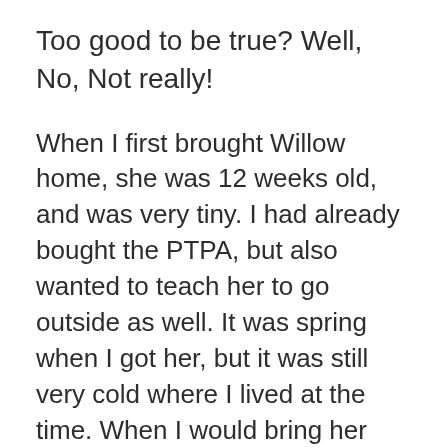Too good to be true? Well, No, Not really!
When I first brought Willow home, she was 12 weeks old, and was very tiny. I had already bought the PTPA, but also wanted to teach her to go outside as well. It was spring when I got her, but it was still very cold where I lived at the time. When I would bring her outside to try to go, the poor thing would climb onto my feet, curl up into a ball, and just shiver. She would not even try to go. She was too tiny, and it was too cold. So I decided to use the PTPA